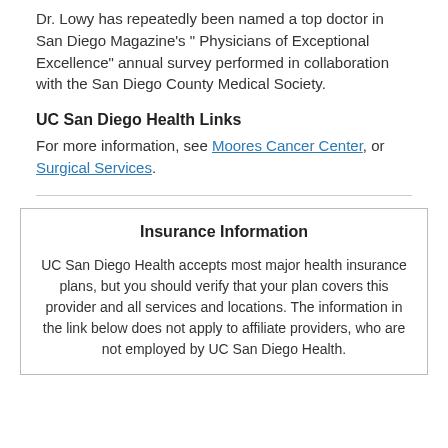Dr. Lowy has repeatedly been named a top doctor in San Diego Magazine's " Physicians of Exceptional Excellence" annual survey performed in collaboration with the San Diego County Medical Society.
UC San Diego Health Links
For more information, see Moores Cancer Center, or Surgical Services.
Insurance Information
UC San Diego Health accepts most major health insurance plans, but you should verify that your plan covers this provider and all services and locations. The information in the link below does not apply to affiliate providers, who are not employed by UC San Diego Health.